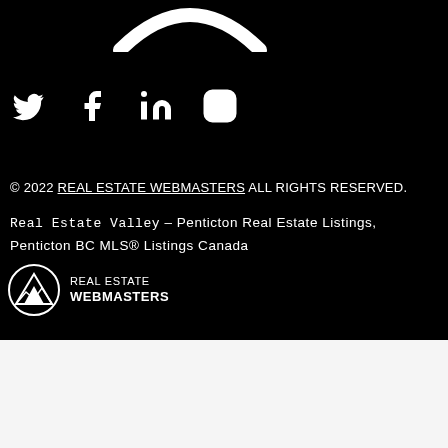[Figure (logo): Partial arc/circle logo at top in white on black background]
[Figure (illustration): Social media icons: Twitter, Facebook, LinkedIn, Instagram — white on black]
© 2022 REAL ESTATE WEBMASTERS ALL RIGHTS RESERVED.
Real Estate Valley – Penticton Real Estate Listings, Penticton BC MLS® Listings Canada
[Figure (logo): Real Estate Webmasters logo — mountain icon with REAL ESTATE WEBMASTERS text in white]
THE TRADEMARKS MLS®, MULTIPLE LISTING SERVICE® AND THE ASSOCIATED LOGOS ARE OWNED BY THE CANADIAN REAL